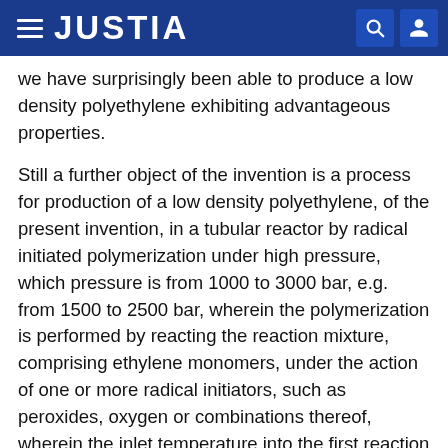JUSTIA
we have surprisingly been able to produce a low density polyethylene exhibiting advantageous properties.
Still a further object of the invention is a process for production of a low density polyethylene, of the present invention, in a tubular reactor by radical initiated polymerization under high pressure, which pressure is from 1000 to 3000 bar, e.g. from 1500 to 2500 bar, wherein the polymerization is performed by reacting the reaction mixture, comprising ethylene monomers, under the action of one or more radical initiators, such as peroxides, oxygen or combinations thereof, wherein the inlet temperature into the first reaction zone of the reactor is selected, as described in any of the embodiments described herein. By selecting the inlet temperature into the first reaction zone of the reactor we have surprisingly been able to produce a low density polyethylene exhibiting advantageous properties.